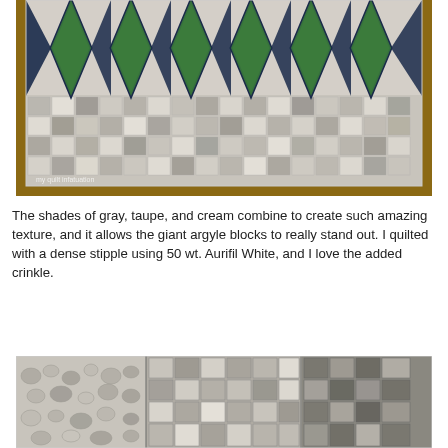[Figure (photo): A quilt with giant argyle diamond blocks in green and navy blue at the top, laid flat on a wooden floor, with the lower portion showing a patchwork of small squares in gray, taupe, cream, and muted tones.]
The shades of gray, taupe, and cream combine to create such amazing texture, and it allows the giant argyle blocks to really stand out.  I quilted with a dense stipple using 50 wt. Aurifil White, and I love the added crinkle.
[Figure (photo): A close-up view of the quilt surface showing dense stipple quilting texture over patchwork squares in gray, cream, taupe, and neutral tones.]